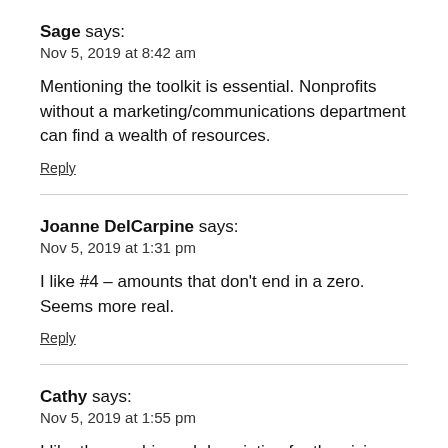Sage says:
Nov 5, 2019 at 8:42 am
Mentioning the toolkit is essential. Nonprofits without a marketing/communications department can find a wealth of resources.
Reply
Joanne DelCarpine says:
Nov 5, 2019 at 1:31 pm
I like #4 – amounts that don't end in a zero. Seems more real.
Reply
Cathy says:
Nov 5, 2019 at 1:55 pm
I like the graphic and description for the giving